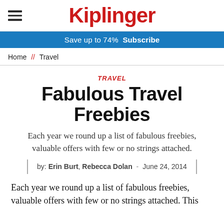Kiplinger
Save up to 74%  Subscribe
Home // Travel
TRAVEL
Fabulous Travel Freebies
Each year we round up a list of fabulous freebies, valuable offers with few or no strings attached.
by: Erin Burt, Rebecca Dolan  -  June 24, 2014
Each year we round up a list of fabulous freebies, valuable offers with few or no strings attached. This